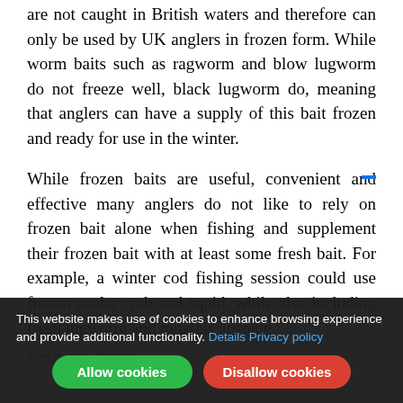are not caught in British waters and therefore can only be used by UK anglers in frozen form. While worm baits such as ragworm and blow lugworm do not freeze well, black lugworm do, meaning that anglers can have a supply of this bait frozen and ready for use in the winter.
While frozen baits are useful, convenient and effective many anglers do not like to rely on frozen bait alone when fishing and supplement their frozen bait with at least some fresh bait. For example, a winter cod fishing session could use frozen peeler crab and squid, while also including fresh lugworm and mussels at some fresh and frozen...
This website makes use of cookies to enhance browsing experience and provide additional functionality. Details Privacy policy
Allow cookies | Disallow cookies